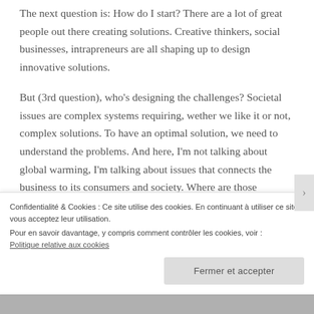The next question is: How do I start? There are a lot of great people out there creating solutions. Creative thinkers, social businesses, intrapreneurs are all shaping up to design innovative solutions.
But (3rd question), who's designing the challenges? Societal issues are complex systems requiring, wether we like it or not, complex solutions. To have an optimal solution, we need to understand the problems. And here, I'm not talking about global warming, I'm talking about issues that connects the business to its consumers and society. Where are those models?
Confidentialité & Cookies : Ce site utilise des cookies. En continuant à utiliser ce site, vous acceptez leur utilisation.
Pour en savoir davantage, y compris comment contrôler les cookies, voir :
Politique relative aux cookies
Fermer et accepter